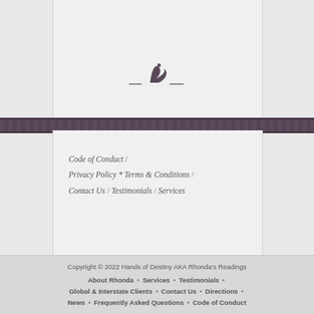[Figure (illustration): Small decorative bird/animal silhouette figure centered in the content panel area]
Code of Conduct / Privacy Policy * Terms & Conditions / Contact Us / Testimonials / Services
Copyright © 2022 Hands of Destiny AKA Rhonda's Readings
About Rhonda • Services • Testimonials • Global & Interstate Clients • Contact Us • Directions • News • Frequently Asked Questions • Code of Conduct